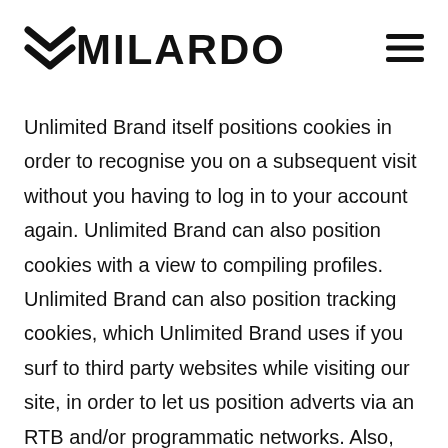MILARDO
Unlimited Brand itself positions cookies in order to recognise you on a subsequent visit without you having to log in to your account again. Unlimited Brand can also position cookies with a view to compiling profiles. Unlimited Brand can also position tracking cookies, which Unlimited Brand uses if you surf to third party websites while visiting our site, in order to let us position adverts via an RTB and/or programmatic networks. Also, Unlimited Brand uses third parties for analysing its content, websites, apps and services. These third